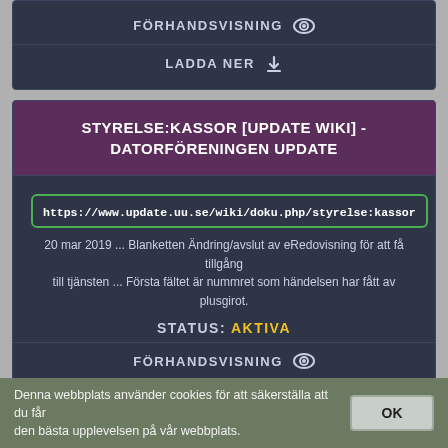FÖRHANDSVISNING
LADDA NER
STYRELSE:KASSOR [UPDATE WIKI] - DATORFÖRENINGEN UPDATE
https://www.update.uu.se/wiki/doku.php/styrelse:kassor
20 mar 2019 ... Blanketten Ändring/avslut av eRedovisning för att få tillgång till tjänsten ... Första fältet är nummret som händelsen har fått av plusgirot.
STATUS: AKTIVA
FÖRHANDSVISNING
LADDA NER
Denna webbplats använder cookies för att säkerställa att du får den bästa upplevelsen på vår webbplats.